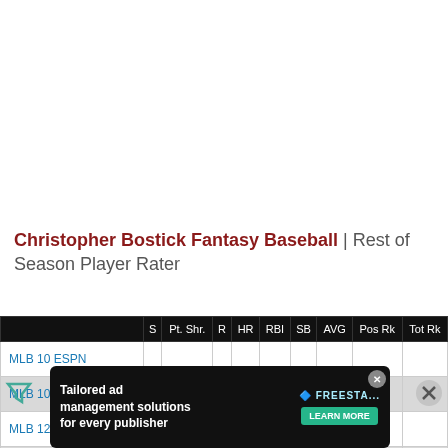Christopher Bostick Fantasy Baseball | Rest of Season Player Rater
|  | S | Pt. Shr. | R | HR | RBI | SB | AVG | Pos Rk | Tot Rk |
| --- | --- | --- | --- | --- | --- | --- | --- | --- | --- |
| MLB 10 ESPN |  |  |  |  |  |  |  |  |  |
| MLB 10 Y! |  |  |  |  |  |  |  |  |  |
| MLB 12 ESPN |  |  |  |  |  |  |  |  |  |
| MLB 12 Y! |  |  |  |  |  |  |  |  |  |
| MLB 14 B... |  |  |  |  |  |  |  |  |  |